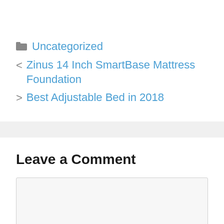📁 Uncategorized
< Zinus 14 Inch SmartBase Mattress Foundation
> Best Adjustable Bed in 2018
Leave a Comment